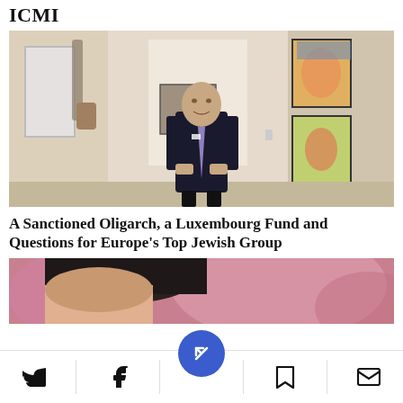ICMI
[Figure (photo): A man in a dark suit and purple tie standing in a hallway with artwork on the walls]
A Sanctioned Oligarch, a Luxembourg Fund and Questions for Europe's Top Jewish Group
[Figure (photo): Partial view of a person with dark hair against a blurred pink/colorful background]